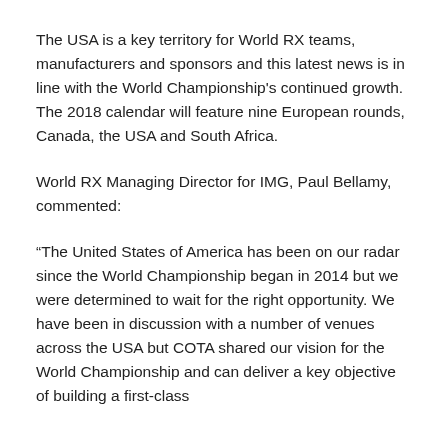The USA is a key territory for World RX teams, manufacturers and sponsors and this latest news is in line with the World Championship's continued growth.  The 2018 calendar will feature nine European rounds, Canada, the USA and South Africa.
World RX Managing Director for IMG, Paul Bellamy, commented:
“The United States of America has been on our radar since the World Championship began in 2014 but we were determined to wait for the right opportunity. We have been in discussion with a number of venues across the USA but COTA shared our vision for the World Championship and can deliver a key objective of building a first-class